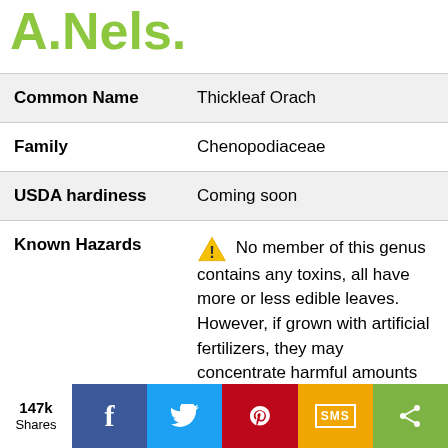A.Nels.
| Field | Value |
| --- | --- |
| Common Name | Thickleaf Orach |
| Family | Chenopodiaceae |
| USDA hardiness | Coming soon |
| Known Hazards | ⚠ No member of this genus contains any toxins, all have more or less edible leaves. However, if grown with artificial fertilizers, they may concentrate harmful amounts of nitrates in their leaves. |
147k Shares | Facebook | Twitter | Pinterest | SMS | Share